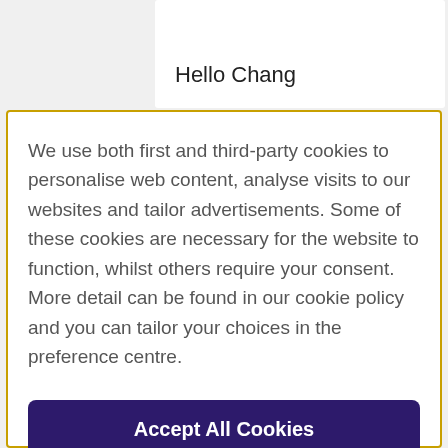Hello Chang
We use both first and third-party cookies to personalise web content, analyse visits to our websites and tailor advertisements. Some of these cookies are necessary for the website to function, whilst others require your consent. More detail can be found in our cookie policy and you can tailor your choices in the preference centre.
Accept All Cookies
Cookies Settings